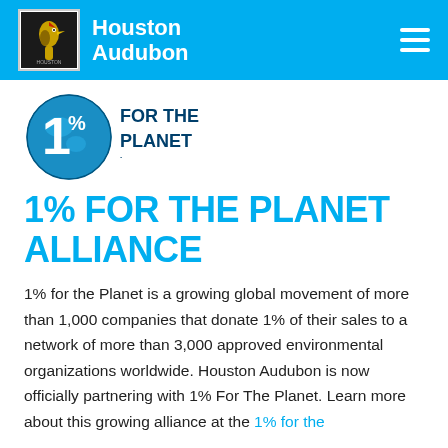Houston Audubon
[Figure (logo): 1% For The Planet logo — circular blue globe with '1%' and 'FOR THE PLANET' text]
1% FOR THE PLANET ALLIANCE
1% for the Planet is a growing global movement of more than 1,000 companies that donate 1% of their sales to a network of more than 3,000 approved environmental organizations worldwide. Houston Audubon is now officially partnering with 1% For The Planet. Learn more about this growing alliance at the 1% for the